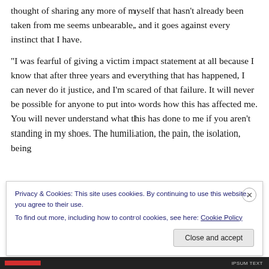thought of sharing any more of myself that hasn't already been taken from me seems unbearable, and it goes against every instinct that I have.
“I was fearful of giving a victim impact statement at all because I know that after three years and everything that has happened, I can never do it justice, and I’m scared of that failure. It will never be possible for anyone to put into words how this has affected me. You will never understand what this has done to me if you aren’t standing in my shoes. The humiliation, the pain, the isolation, being
Privacy & Cookies: This site uses cookies. By continuing to use this website, you agree to their use.
To find out more, including how to control cookies, see here: Cookie Policy